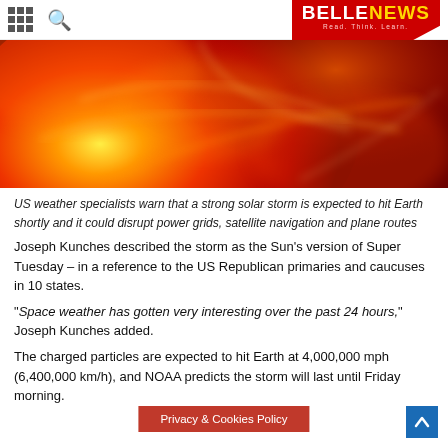BELLE NEWS - Read. Think. Learn.
[Figure (photo): Close-up image of the sun showing intense orange and red solar activity, representing a solar storm.]
US weather specialists warn that a strong solar storm is expected to hit Earth shortly and it could disrupt power grids, satellite navigation and plane routes
Joseph Kunches described the storm as the Sun's version of Super Tuesday – in a reference to the US Republican primaries and caucuses in 10 states.
"Space weather has gotten very interesting over the past 24 hours," Joseph Kunches added.
The charged particles are expected to hit Earth at 4,000,000 mph (6,400,000 km/h), and NOAA predicts the storm will last until Friday morning.